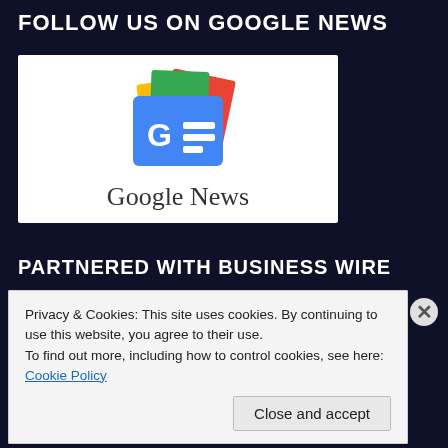FOLLOW US ON GOOGLE NEWS
[Figure (logo): Google News logo: stacked colorful papers icon with blue GE= badge and text 'Google News' below]
PARTNERED WITH BUSINESS WIRE
Privacy & Cookies: This site uses cookies. By continuing to use this website, you agree to their use.
To find out more, including how to control cookies, see here: Cookie Policy
Close and accept